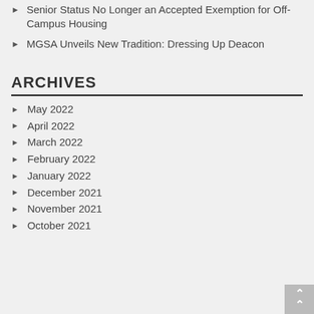Senior Status No Longer an Accepted Exemption for Off-Campus Housing
MGSA Unveils New Tradition: Dressing Up Deacon
ARCHIVES
May 2022
April 2022
March 2022
February 2022
January 2022
December 2021
November 2021
October 2021